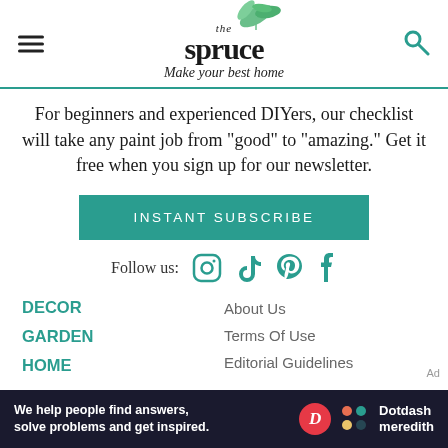the spruce — Make your best home
For beginners and experienced DIYers, our checklist will take any paint job from "good" to "amazing." Get it free when you sign up for our newsletter.
INSTANT SUBSCRIBE
Follow us:
DECOR
GARDEN
HOME
About Us
Terms Of Use
Editorial Guidelines
Ad
We help people find answers, solve problems and get inspired. Dotdash meredith